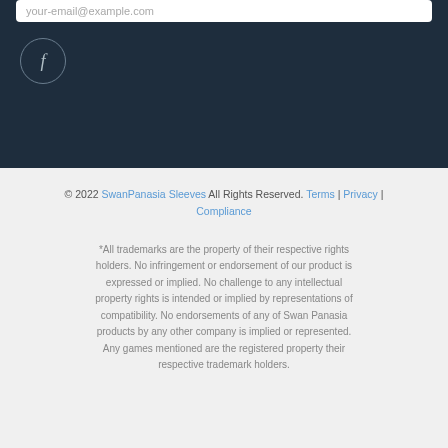your-email@example.com
[Figure (illustration): Facebook icon circle button on dark navy background]
© 2022 SwanPanasia Sleeves All Rights Reserved. Terms | Privacy | Compliance
*All trademarks are the property of their respective rights holders. No infringement or endorsement of our product is expressed or implied. No challenge to any intellectual property rights is intended or implied by representations of compatibility. No endorsements of any of Swan Panasia products by any other company is implied or represented. Any games mentioned are the registered property their respective trademark holders.